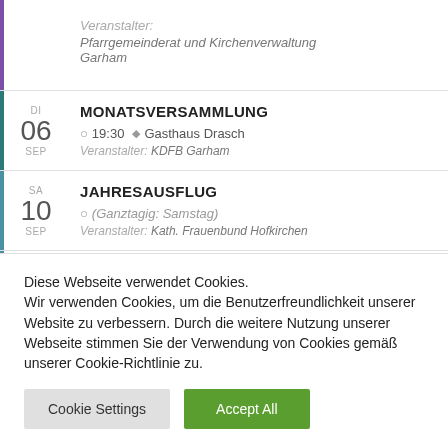Veranstalter: Pfarrgemeinderat und Kirchenverwaltung Garham
DI 06 SEP | MONATSVERSAMMLUNG | 19:30 Gasthaus Drasch | Veranstalter: KDFB Garham
SA 10 SEP | JAHRESAUSFLUG | (Ganztagig: Samstag) | Veranstalter: Kath. Frauenbund Hofkirchen
SA 10 SEP | RIPPERLESSEN | 18:00 Gasthaus Stanek | Veranstalter: VdK Ortsverband Hofkirchen
Diese Webseite verwendet Cookies. Wir verwenden Cookies, um die Benutzerfreundlichkeit unserer Website zu verbessern. Durch die weitere Nutzung unserer Webseite stimmen Sie der Verwendung von Cookies gemäß unserer Cookie-Richtlinie zu.